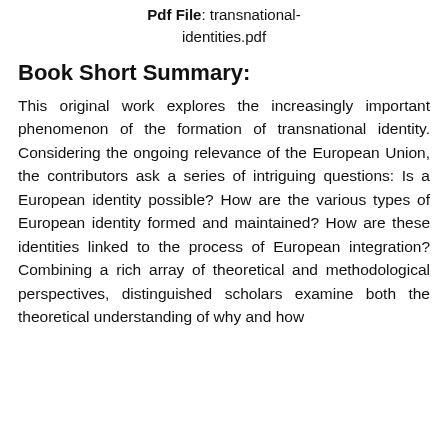Pdf File: transnational-identities.pdf
Book Short Summary:
This original work explores the increasingly important phenomenon of the formation of transnational identity. Considering the ongoing relevance of the European Union, the contributors ask a series of intriguing questions: Is a European identity possible? How are the various types of European identity formed and maintained? How are these identities linked to the process of European integration? Combining a rich array of theoretical and methodological perspectives, distinguished scholars examine both the theoretical understanding of why and how